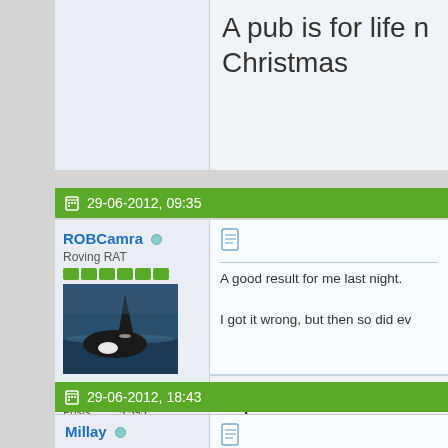A pub is for life not just Christmas
29-06-2012, 09:35
ROBCamra
Roving RAT
Join Date: Dec 2009
Location: Rochdale
Posts: 5,593
A good result for me last night.

I got it wrong, but then so did ev
A pub is for life not just Christmas
29-06-2012, 18:43
Millay